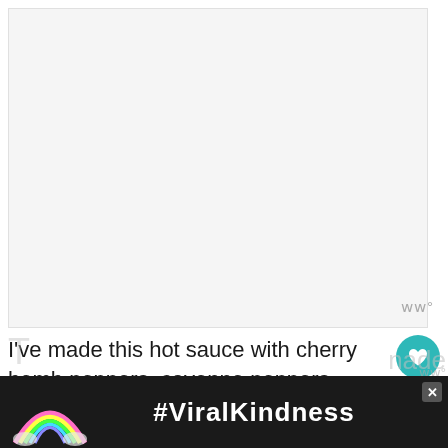[Figure (photo): Large light gray image placeholder area at the top of the page]
I've made this hot sauce with cherry bomb peppers, cayenne peppers, habaneros, and tabasco peppers. And combinations of them.
[Figure (screenshot): Advertisement banner with dark background, rainbow illustration, and #ViralKindness hashtag text with an X close button]